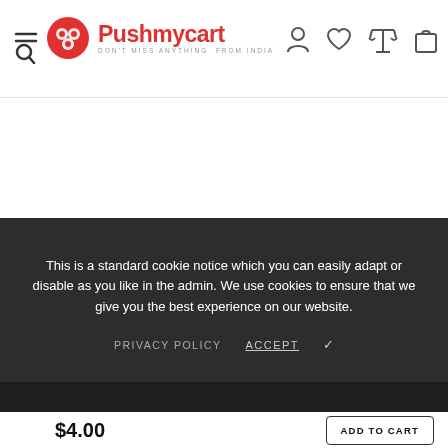[Figure (logo): Pushmycart logo with red circle icon and text 'Pushmycart - Don't miss anything from India']
This is a standard cookie notice which you can easily adapt or disable as you like in the admin. We use cookies to ensure that we give you the best experience on our website.
PRIVACY POLICY   ACCEPT ✓
$4.00
ADD TO CART